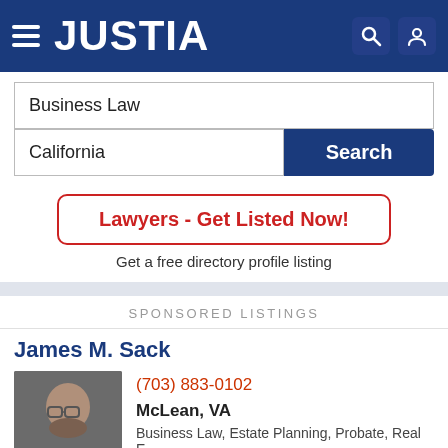JUSTIA
Business Law
California
Search
Lawyers - Get Listed Now!
Get a free directory profile listing
SPONSORED LISTINGS
James M. Sack
[Figure (photo): Headshot of James M. Sack, a man with glasses and a beard]
(703) 883-0102
McLean, VA
Business Law, Estate Planning, Probate, Real E...